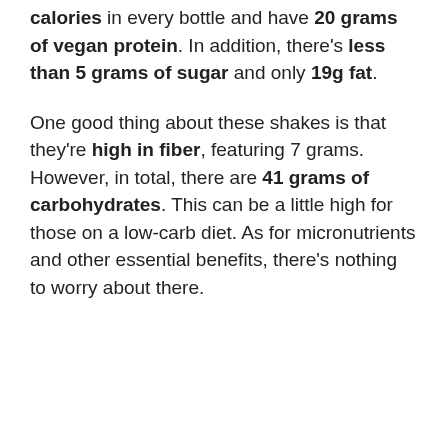calories in every bottle and have 20 grams of vegan protein. In addition, there's less than 5 grams of sugar and only 19g fat.
One good thing about these shakes is that they're high in fiber, featuring 7 grams. However, in total, there are 41 grams of carbohydrates. This can be a little high for those on a low-carb diet. As for micronutrients and other essential benefits, there's nothing to worry about there.